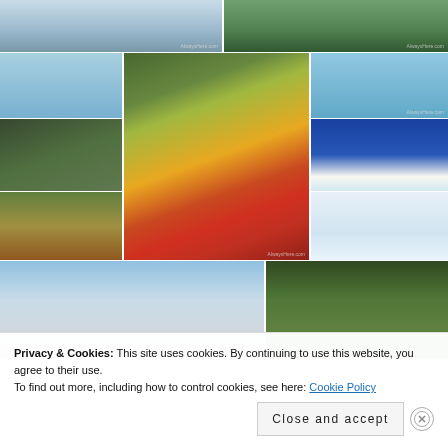[Figure (photo): Collection of travel photos in a mosaic grid layout. Top row: two wide panoramic photos (snowy/water scene, green park scene). Middle section: beach/bay, tall autumn foliage with red bridge in Japan, coastal cliff, gazebo/pavilion, Greek blue-domed church, brown bear in forest, snowy white landscape. Bottom row: harbor with modern sculpture and sky, lush green forest with moss-covered trees.]
Privacy & Cookies: This site uses cookies. By continuing to use this website, you agree to their use.
To find out more, including how to control cookies, see here: Cookie Policy
Close and accept